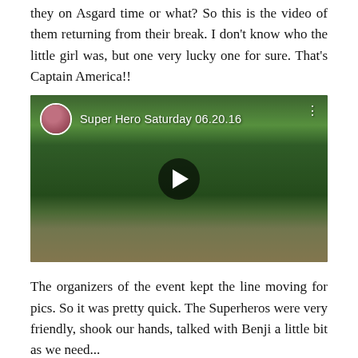they on Asgard time or what? So this is the video of them returning from their break. I don't know who the little girl was, but one very lucky one for sure. That's Captain America!!
[Figure (screenshot): Embedded video thumbnail titled 'Super Hero Hero Saturday 06.20.16' showing people dressed as Marvel superheroes (Thor, Captain America, Iron Man) walking with a little girl, with a play button overlay and a user avatar in the top left corner.]
The organizers of the event kept the line moving for pics. So it was pretty quick. The Superheros were very friendly, shook our hands, talked with Benji a little bit as we need...